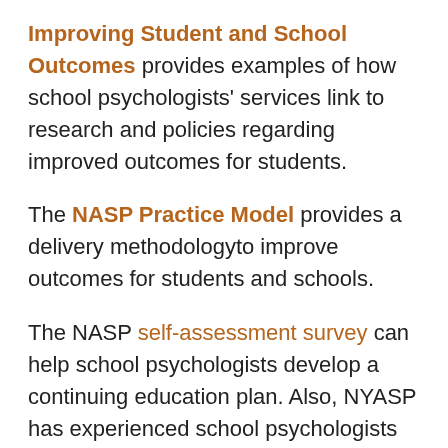Improving Student and School Outcomes provides examples of how school psychologists' services link to research and policies regarding improved outcomes for students.
The NASP Practice Model provides a delivery methodologyto improve outcomes for students and schools.
The NASP self-assessment survey can help school psychologists develop a continuing education plan. Also, NYASP has experienced school psychologists in the field available to work with and provide guidance to early career New York school psychologists. For any questions about this mentorship program please contact Bruce Weiner